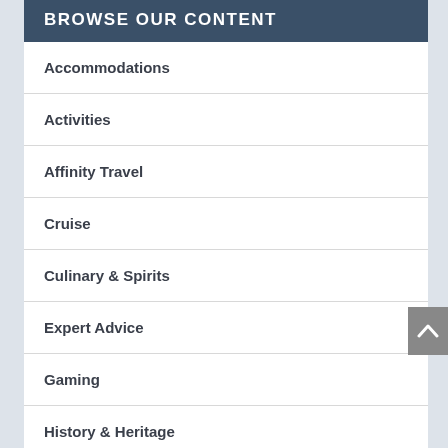BROWSE OUR CONTENT
Accommodations
Activities
Affinity Travel
Cruise
Culinary & Spirits
Expert Advice
Gaming
History & Heritage
Industry Trends & News